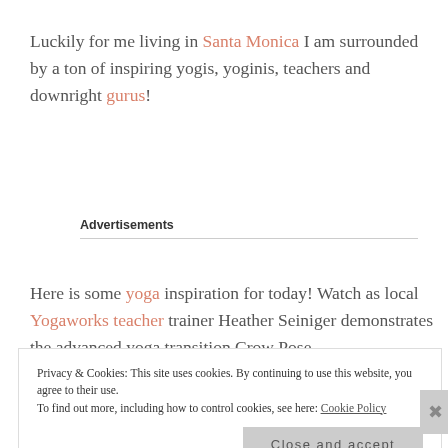Luckily for me living in Santa Monica I am surrounded by a ton of inspiring yogis, yoginis, teachers and downright gurus!
Advertisements
Here is some yoga inspiration for today! Watch as local Yogaworks teacher trainer Heather Seiniger demonstrates the advanced yoga transition Crow Pose
Privacy & Cookies: This site uses cookies. By continuing to use this website, you agree to their use.
To find out more, including how to control cookies, see here: Cookie Policy
Close and accept